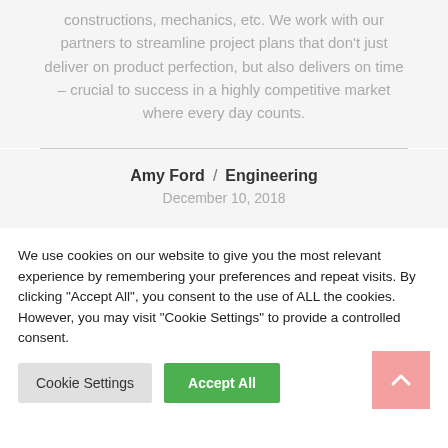constructions, mechanics, etc. We work with our partners to streamline project plans that don't just deliver on product perfection, but also delivers on time – crucial to success in a highly competitive market where every day counts.
Amy Ford  /  Engineering
December 10, 2018
We use cookies on our website to give you the most relevant experience by remembering your preferences and repeat visits. By clicking "Accept All", you consent to the use of ALL the cookies. However, you may visit "Cookie Settings" to provide a controlled consent.